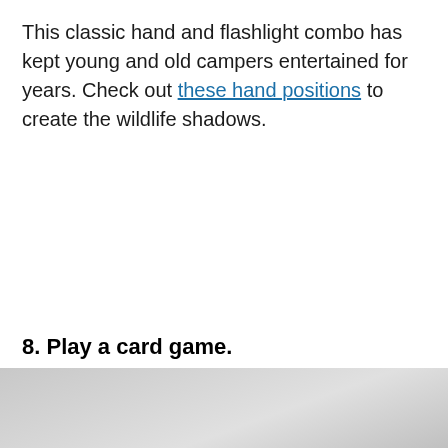This classic hand and flashlight combo has kept young and old campers entertained for years. Check out these hand positions to create the wildlife shadows.
8. Play a card game.
[Figure (photo): A partially visible outdoor/camping scene photograph, gray toned, cut off at the bottom of the page.]